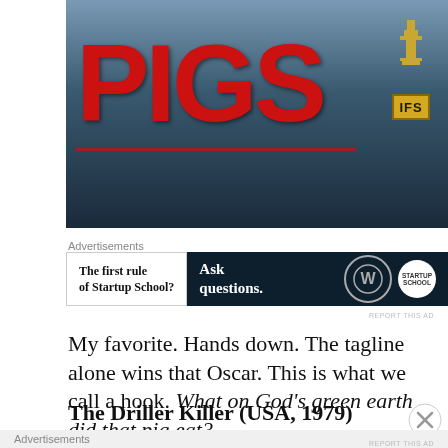[Figure (photo): Book or movie cover image with large red letters spelling 'PIGS' on a dark blue/grey background, with a golden trophy figure and 'IFS' label in the top right corner.]
Advertisements
[Figure (screenshot): Advertisement banner: left side shows text 'The first rule of Startup School?' in bold; right side is a dark navy banner with text 'Ask questions.' and WordPress and Startup School logos.]
My favorite. Hands down. The tagline alone wins that Oscar. This is what we call a hook. What on God’s green earth did that pig eat?
The Driller Killer (USA, 1979)
Advertisements